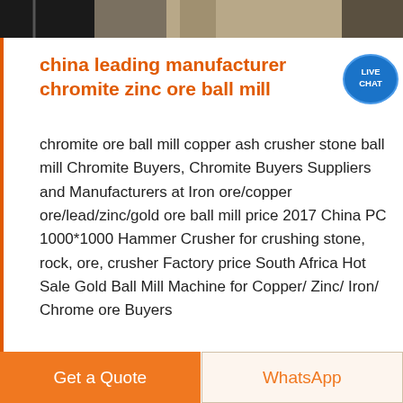[Figure (photo): Partial photo of industrial machinery or building exterior at top of page]
china leading manufacturer chromite zinc ore ball mill
chromite ore ball mill copper ash crusher stone ball mill Chromite Buyers, Chromite Buyers Suppliers and Manufacturers at Iron ore/copper ore/lead/zinc/gold ore ball mill price 2017 China PC 1000*1000 Hammer Crusher for crushing stone, rock, ore, crusher Factory price South Africa Hot Sale Gold Ball Mill Machine for Copper/ Zinc/ Iron/ Chrome ore Buyers
[Figure (screenshot): Live Chat bubble icon in blue/teal]
Sales Online
[Figure (photo): Partial photo at bottom of page showing industrial equipment]
Get a Quote
WhatsApp